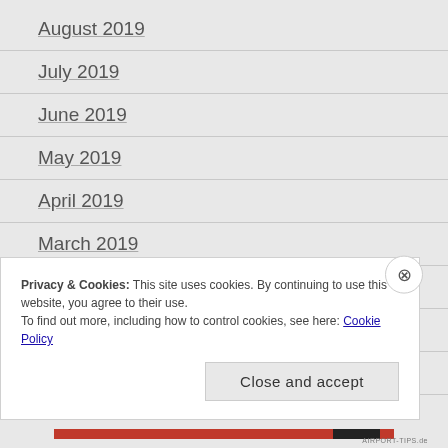August 2019
July 2019
June 2019
May 2019
April 2019
March 2019
February 2019
January 2019
December 2018
Privacy & Cookies: This site uses cookies. By continuing to use this website, you agree to their use.
To find out more, including how to control cookies, see here: Cookie Policy
Close and accept
AIRPORT-TIPS.de